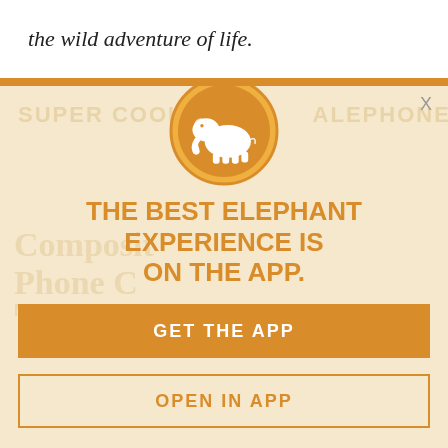the wild adventure of life.
[Figure (illustration): App promotion modal with elephant logo circle, headline, subtext, and two buttons on a light tan/cream background with orange accents]
THE BEST ELEPHANT EXPERIENCE IS ON THE APP.
Enjoy a daily moment of mindfulness in the midst of this busy life. It's free.
GET THE APP
OPEN IN APP